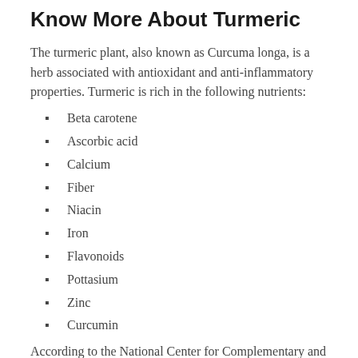Know More About Turmeric
The turmeric plant, also known as Curcuma longa, is a herb associated with antioxidant and anti-inflammatory properties. Turmeric is rich in the following nutrients:
Beta carotene
Ascorbic acid
Calcium
Fiber
Niacin
Iron
Flavonoids
Pottasium
Zinc
Curcumin
According to the National Center for Complementary and